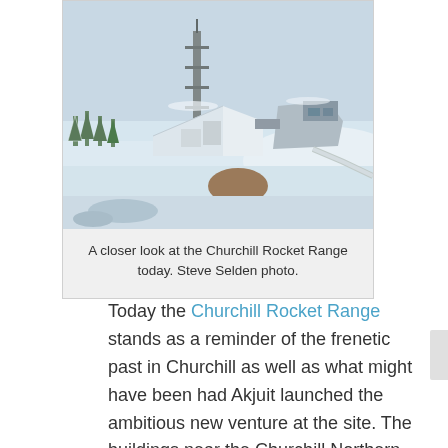[Figure (photo): Aerial photograph of the Churchill Rocket Range in winter. Snow-covered landscape with industrial/scientific buildings including a launch tower structure, a wedge-shaped white building, and other facilities. Spruce trees visible in background.]
A closer look at the Churchill Rocket Range today. Steve Selden photo.
Today the Churchill Rocket Range stands as a reminder of the frenetic past in Churchill as well as what might have been had Akjuit launched the ambitious new venture at the site. The buildings near the Churchill Northern Studies Center seem frozen in time, suspended in anticipation of what the future could have been.